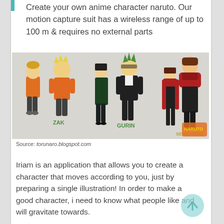Create your own anime character naruto. Our motion capture suit has a wireless range of up to 100 m & requires no external parts
[Figure (illustration): Anime-style illustration showing five characters labeled ZAK, GURIN, and SENBUROID drawn in a Naruto fan-art style on a textured background.]
Source: torunaro.blogspot.com
Iriam is an application that allows you to create a character that moves according to you, just by preparing a single illustration! In order to make a good character, i need to know what people like and will gravitate towards.